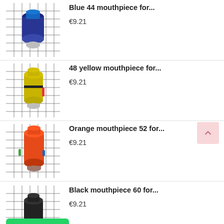[Figure (photo): Blue mouthpiece product photo on grid background]
Blue 44 mouthpiece for...
€9.21
[Figure (photo): Yellow mouthpiece product photo on grid background]
48 yellow mouthpiece for...
€9.21
[Figure (photo): Orange mouthpiece product photo on grid background]
Orange mouthpiece 52 for...
€9.21
[Figure (photo): Black mouthpiece product photo on grid background]
Black mouthpiece 60 for...
€9.21